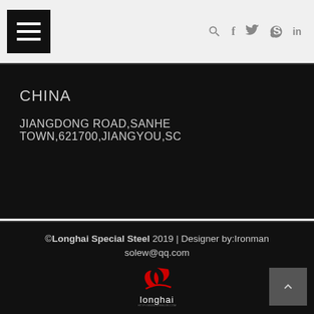[Figure (screenshot): Website header bar with hamburger menu icon on the left and social media icons (search, Facebook, Twitter, Skype, LinkedIn) on the right, on a light gray background]
CHINA
JIANGDONG ROAD,SANHE TOWN,621700,JIANGYOU,SC
©Longhai Special Steel 2019 | Designer by:Ironman solew@qq.com
[Figure (logo): Longhai Special Steel logo — red stylized icon above the word 'longhai' in white]
Site Map | Privacy Policy | Terms&Condition